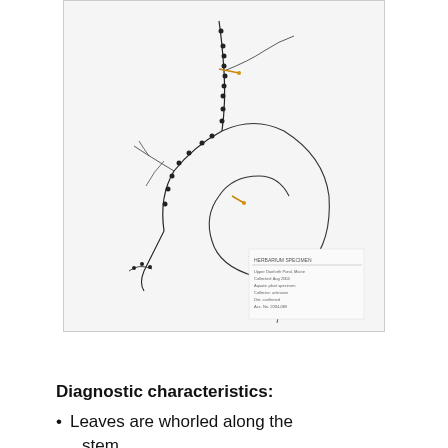[Figure (photo): Herbarium specimen photograph of an aquatic plant (Upper Danforth Pond plant) showing whorled stems with small leaves, mounted on white paper with a herbarium label in the lower right corner. The plant has thin branching stems with dark leaf whorls and a few orange/yellow markers.]
Upper Danforth Pond plant
Diagnostic characteristics:
Leaves are whorled along the stem